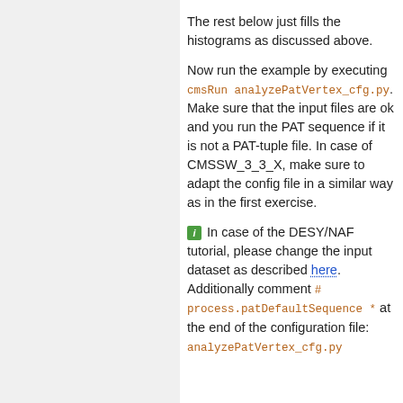The rest below just fills the histograms as discussed above.
Now run the example by executing cmsRun analyzePatVertex_cfg.py. Make sure that the input files are ok and you run the PAT sequence if it is not a PAT-tuple file. In case of CMSSW_3_3_X, make sure to adapt the config file in a similar way as in the first exercise.
[i] In case of the DESY/NAF tutorial, please change the input dataset as described here. Additionally comment # process.patDefaultSequence * at the end of the configuration file: analyzePatVertex_cfg.py